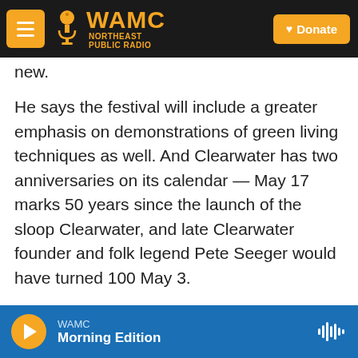WAMC Northeast Public Radio | Donate
new.
He says the festival will include a greater emphasis on demonstrations of green living techniques as well. And Clearwater has two anniversaries on its calendar — May 17 marks 50 years since the launch of the sloop Clearwater, and late Clearwater founder and folk legend Pete Seeger would have turned 100 May 3.
The Great Hudson River Revival will be held at Croton Point Park in Westchester County June 15-16.
WAMC Morning Edition